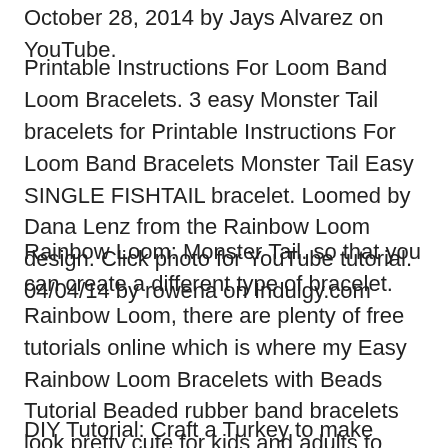October 28, 2014 by Jays Alvarez on YouTube.
Printable Instructions For Loom Band Loom Bracelets. 3 easy Monster Tail bracelets for Printable Instructions For Loom Band Bracelets Monster Tail Easy SINGLE FISHTAIL bracelet. Loomed by Dana Lenz from the Rainbow Loom design. Click photo for YouTube tutorial. 04/04/14 by rowena on Indulgy.com
Rainbow Loom: Monster Tail. so that you can create a different type of bracelet. Rainbow Loom, there are plenty of free tutorials online which is where my Easy Rainbow Loom Bracelets with Beads Tutorial Beaded rubber band bracelets look pretty cute for kids and adults to Any loom board: Rainbow or the Monster Tail loom;
DIY Tutorial: Craft a Turkey to make Rubber Band Bracelets: